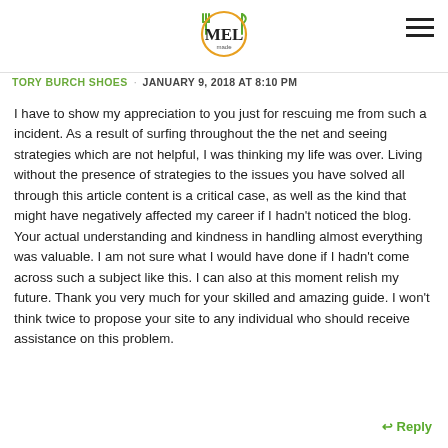[Figure (logo): MELmade logo: stylized fork and knife around a circle with MEL text and 'made' subtitle]
TORY BURCH SHOES   JANUARY 9, 2018 AT 8:10 PM
I have to show my appreciation to you just for rescuing me from such a incident. As a result of surfing throughout the the net and seeing strategies which are not helpful, I was thinking my life was over. Living without the presence of strategies to the issues you have solved all through this article content is a critical case, as well as the kind that might have negatively affected my career if I hadn't noticed the blog. Your actual understanding and kindness in handling almost everything was valuable. I am not sure what I would have done if I hadn't come across such a subject like this. I can also at this moment relish my future. Thank you very much for your skilled and amazing guide. I won't think twice to propose your site to any individual who should receive assistance on this problem.
↩ Reply